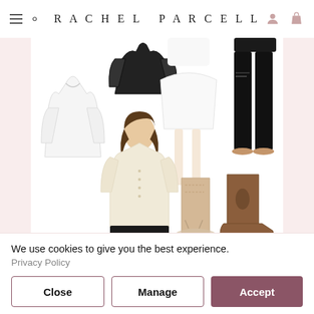RACHEL PARCELL
[Figure (photo): Fashion e-commerce website screenshot showing clothing items including a white jacket, cream cardigan worn by a brunette model, white mini skirt on a model, dark ripped jeans, sandals, beige western cowboy boots, and brown chelsea boots arranged on a white background with light pink side panels]
FASHION
We use cookies to give you the best experience.
Privacy Policy
Close
Manage
Accept